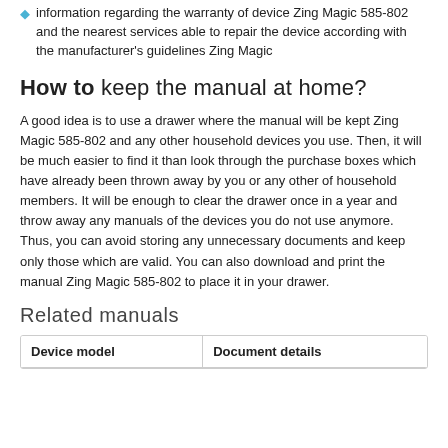information regarding the warranty of device Zing Magic 585-802 and the nearest services able to repair the device according with the manufacturer's guidelines Zing Magic
How to keep the manual at home?
A good idea is to use a drawer where the manual will be kept Zing Magic 585-802 and any other household devices you use. Then, it will be much easier to find it than look through the purchase boxes which have already been thrown away by you or any other of household members. It will be enough to clear the drawer once in a year and throw away any manuals of the devices you do not use anymore. Thus, you can avoid storing any unnecessary documents and keep only those which are valid. You can also download and print the manual Zing Magic 585-802 to place it in your drawer.
Related manuals
| Device model | Document details |
| --- | --- |